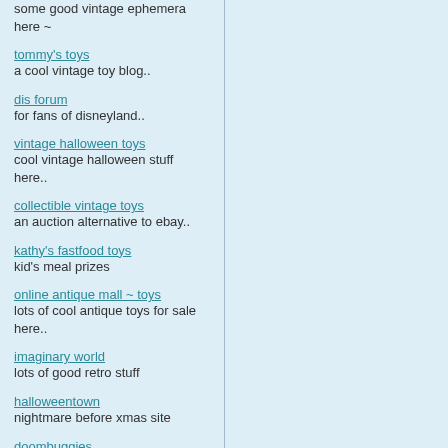some good vintage ephemera here ~
tommy's toys - a cool vintage toy blog..
dis forum - for fans of disneyland..
vintage halloween toys - cool vintage halloween stuff here..
collectible vintage toys - an auction alternative to ebay..
kathy's fastfood toys - kid's meal prizes
online antique mall ~ toys - lots of cool antique toys for sale here..
imaginary world - lots of good retro stuff
halloweentown - nightmare before xmas site
doombuggies - haunted mansion site
this old toy - fisher price store
enchanted world of rankin/bass - rick goldschmidt ~ rankin/bass historian
scar stuff - vintage halloween blog
greenleaf miniatures - for dollhouse enthusiasts
little golden books